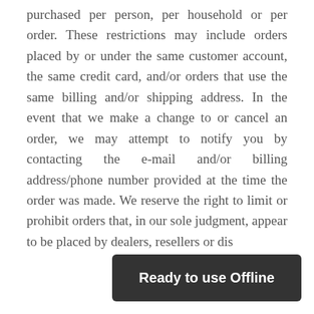purchased per person, per household or per order. These restrictions may include orders placed by or under the same customer account, the same credit card, and/or orders that use the same billing and/or shipping address. In the event that we make a change to or cancel an order, we may attempt to notify you by contacting the e-mail and/or billing address/phone number provided at the time the order was made. We reserve the right to limit or prohibit orders that, in our sole judgment, appear to be placed by dealers, resellers or dis
Ready to use Offline